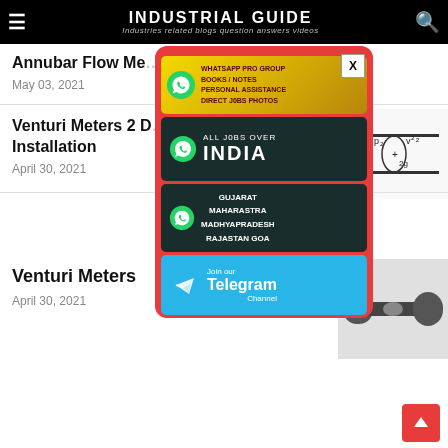INDUSTRIAL GUIDE — Industries related blogs question answers videos
Annubar Flow Me...
May 03, 2021
Venturi Meters 2 D... Installation
April 30, 2021
[Figure (screenshot): Popup advertisement with WhatsApp group links and Telegram channel join button. Contains: WhatsApp Pro Group (Books/Notes/Personal Assistance/Direct JObs Photos), All Jobs Over India, Gujarat Maharashtra Madhyapradesh Rajastan Goa, Join our Telegram Channel.]
Venturi Meters
April 30, 2021